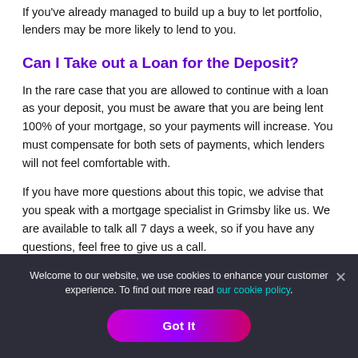If you've already managed to build up a buy to let portfolio, lenders may be more likely to lend to you.
Can I Take out a Loan for the Deposit?
In the rare case that you are allowed to continue with a loan as your deposit, you must be aware that you are being lent 100% of your mortgage, so your payments will increase. You must compensate for both sets of payments, which lenders will not feel comfortable with.
If you have more questions about this topic, we advise that you speak with a mortgage specialist in Grimsby like us. We are available to talk all 7 days a week, so if you have any questions, feel free to give us a call.
Welcome to our website, we use cookies to enhance your customer experience. To find out more read our cookie policy.
Got It